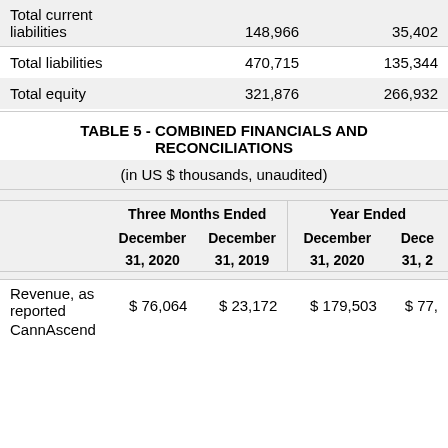|  | 148,966 | 35,402 |
| --- | --- | --- |
| Total current liabilities | 148,966 | 35,402 |
| Total liabilities | 470,715 | 135,344 |
| Total equity | 321,876 | 266,932 |
TABLE 5 - COMBINED FINANCIALS AND RECONCILIATIONS
(in US $ thousands, unaudited)
|  | Three Months Ended |  | Year Ended |  |
| --- | --- | --- | --- | --- |
|  | December 31, 2020 | December 31, 2019 | December 31, 2020 | December 31, 2 |
| Revenue, as reported | $ 76,064 | $ 23,172 | $ 179,503 | $ 77, |
| CannAscend |  |  |  |  |